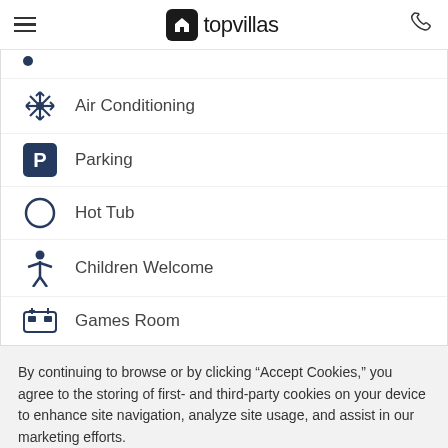topvillas
Air Conditioning
Parking
Hot Tub
Children Welcome
Games Room
By continuing to browse or by clicking “Accept Cookies,” you agree to the storing of first- and third-party cookies on your device to enhance site navigation, analyze site usage, and assist in our marketing efforts.
Cookie Policy
Accept Cookies